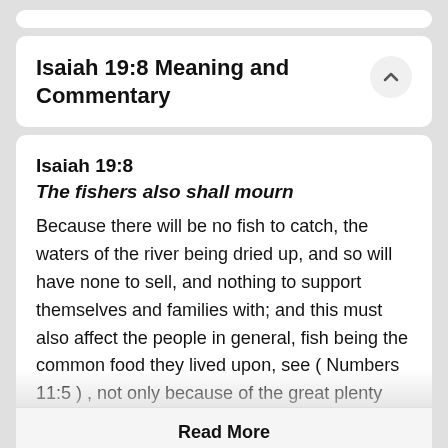Isaiah 19:8 Meaning and Commentary
Isaiah 19:8
The fishers also shall mourn
Because there will be no fish to catch, the waters of the river being dried up, and so will have none to sell, and nothing to support themselves and families with; and this must also affect the people in general, fish being the common food they lived upon, see ( Numbers 11:5 ) , not only because of the great plenty there...
Read More